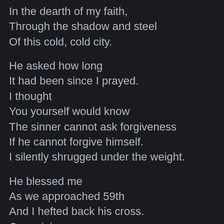In the dearth of my faith,
Through the shadow and steel
Of this cold, cold city.

He asked how long
It had been since I prayed.
I thought
You yourself would know
The sinner cannot ask forgiveness
If he cannot forgive himself.
I silently shrugged under the weight.

He blessed me
As we approached 59th
And I hefted back his cross.
Come join me,
His blues beckoning to mine,
But I was already turning
And three steps away,
Running behind on my own path.

Later,